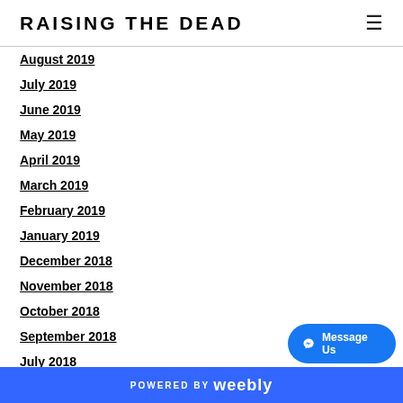RAISING THE DEAD
August 2019
July 2019
June 2019
May 2019
April 2019
March 2019
February 2019
January 2019
December 2018
November 2018
October 2018
September 2018
July 2018
June 2018
May 2018
POWERED BY weebly